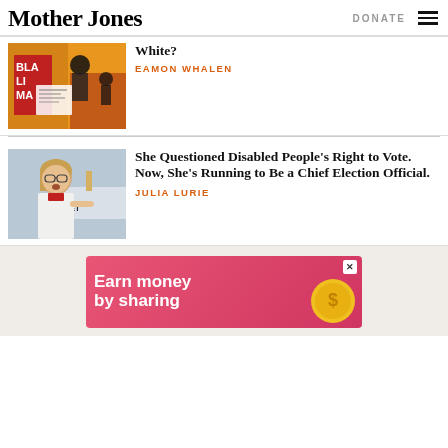Mother Jones | DONATE
White?
EAMON WHALEN
She Questioned Disabled People's Right to Vote. Now, She's Running to Be a Chief Election Official.
JULIA LURIE
[Figure (photo): BLM protest collage with orange background, showing protesters and a document]
[Figure (photo): Woman with glasses speaking at a Kim Crockett Secretary of State campaign event]
[Figure (infographic): Pink advertisement banner reading Earn money by sharing with a gold coin graphic]